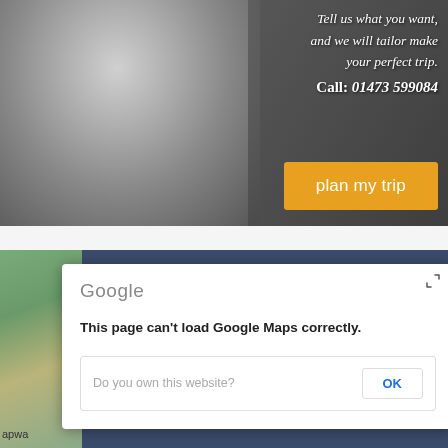[Figure (photo): Black and white photo of a smiling woman wearing a scarf, with text overlay promoting custom trip planning and a phone number, plus an orange 'plan my trip' button.]
Tell us what you want, and we will tailor make your perfect trip.
Call: 01473 599084
plan my trip
[Figure (screenshot): Google Maps error dialog on a map background. Dialog reads: 'Google' logo, 'This page can't load Google Maps correctly.', and a row with 'Do you own this website?' and an 'OK' button.]
This page can't load Google Maps correctly.
Do you own this website?
OK